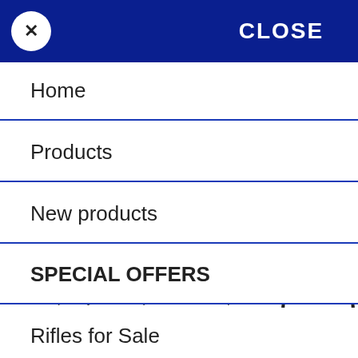CLOSE
Home
Products
New products
SPECIAL OFFERS
Rifles for Sale
How To Order
Contact / Visit Us
ollection / shop only. Call to purchase this product.
Add to compare list